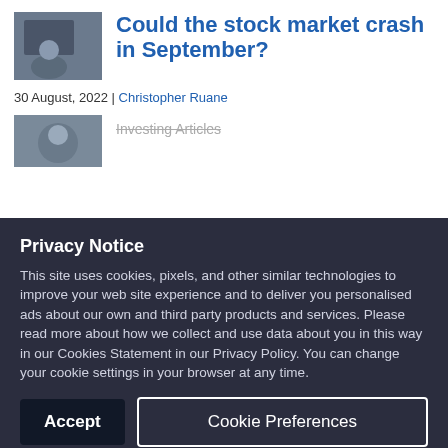[Figure (photo): Thumbnail photo of a person at a computer screen]
Could the stock market crash in September?
30 August, 2022 | Christopher Ruane
[Figure (photo): Second article thumbnail photo]
Investing Articles
Privacy Notice
This site uses cookies, pixels, and other similar technologies to improve your web site experience and to deliver you personalised ads about our own and third party products and services. Please read more about how we collect and use data about you in this way in our Cookies Statement in our Privacy Policy. You can change your cookie settings in your browser at any time.